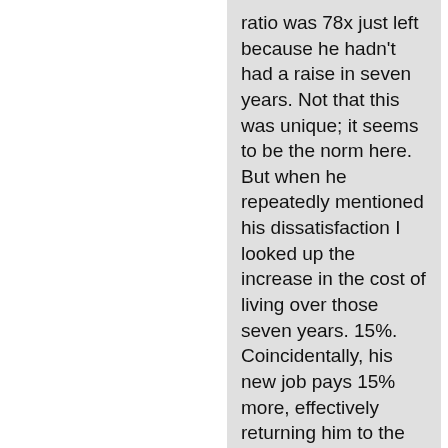ratio was 78x just left because he hadn't had a raise in seven years. Not that this was unique; it seems to be the norm here. But when he repeatedly mentioned his dissatisfaction I looked up the increase in the cost of living over those seven years. 15%. Coincidentally, his new job pays 15% more, effectively returning him to the status quo of where he was seven years ago.
Another coworker just left for a
[Figure (screenshot): Infolinks advertisement banner with 'Official NFL Gear - Get Your Favorite Team's Gear Here' ad showing 50% off with NFL shop URL and navigation arrow]